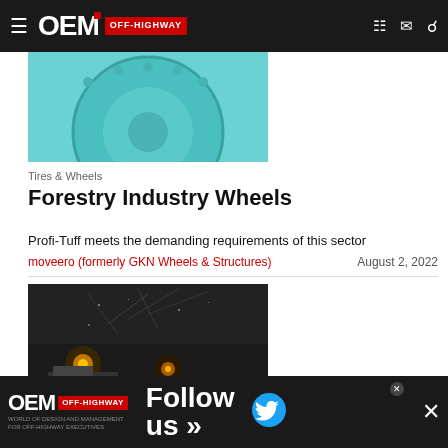OEM OFF-HIGHWAY
[Figure (photo): Close-up of teal/turquoise colored heavy equipment wheel rim]
Tires & Wheels
Forestry Industry Wheels
Profi-Tuff meets the demanding requirements of this sector
moveero (formerly GKN Wheels & Structures)
August 2, 2022
[Figure (photo): Mining/construction machinery operating underground or in dark conditions with lights on, surrounded by debris]
Tires & Wh...
[Figure (infographic): OEM Off-Highway Follow us on Twitter advertisement banner]